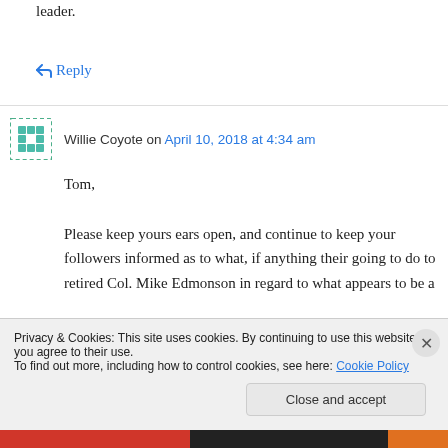leader.
↪ Reply
Willie Coyote on April 10, 2018 at 4:34 am
Tom,

Please keep yours ears open, and continue to keep your followers informed as to what, if anything their going to do to retired Col. Mike Edmonson in regard to what appears to be a
Privacy & Cookies: This site uses cookies. By continuing to use this website, you agree to their use.
To find out more, including how to control cookies, see here: Cookie Policy
Close and accept